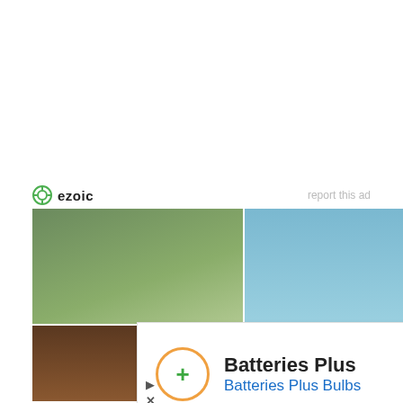[Figure (infographic): Ezoic ad label bar with green circle logo and 'ezoic' text on the left, 'report this ad' in light gray on the right]
[Figure (infographic): Travel adventure ad collage with 6 photo panels: beach with family, person with dolphin, bamboo/nature, hut with people, green panel reading 'FREE 365 Days of Adventure List', woman with bicycle by water, volcano, water scene]
[Figure (infographic): Batteries Plus display ad with orange circle logo containing green plus sign, 'Batteries Plus' in bold black, 'Batteries Plus Bulbs' in blue, and a blue diamond navigation arrow on the right]